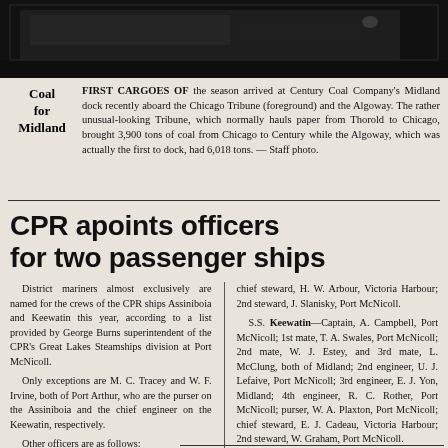[Figure (photo): Black and white photograph of a ship/vessel at dock, dark tones]
Coal for Midland — FIRST CARGOES OF the season arrived at Century Coal Company's Midland dock recently aboard the Chicago Tribune (foreground) and the Algoway. The rather unusual-looking Tribune, which normally hauls paper from Thorold to Chicago, brought 3,900 tons of coal from Chicago to Century while the Algoway, which was actually the first to dock, had 6,018 tons. — Staff photo.
CPR apoints officers for two passenger ships
District mariners almost exclusively are named for the crews of the CPR ships Assiniboia and Keewatin this year, according to a list provided by George Burns superintendent of the CPR's Great Lakes Steamships division at Port McNicoll.

Only exceptions are M. C. Tracey and W. F. Irvine, both of Port Arthur, who are the purser on the Assiniboia and the chief engineer on the Keewatin, respectively.

Other officers are as follows:
S.S. Assiniboia — Captain, E. H. Ridd, Midland; 1st mate, J. L. Delahey, Midland; 2nd mate
chief steward, H. W. Arbour, Victoria Harbour; 2nd steward, J. Slanisky, Port McNicoll.

S.S. Keewatin—Captain, A. Campbell, Port McNicoll; 1st mate, T. A. Swales, Port McNicoll; 2nd mate, W. J. Estey, and 3rd mate, L. McClung, both of Midland; 2nd engineer, U. J. Lefaive, Port McNicoll; 3rd engineer, E. J. Yon, Midland; 4th engineer, R. C. Rother, Port McNicoll; purser, W. A. Plaxton, Port McNicoll; chief steward, E. J. Cadeau, Victoria Harbour; 2nd steward, W. Graham, Port McNicoll.